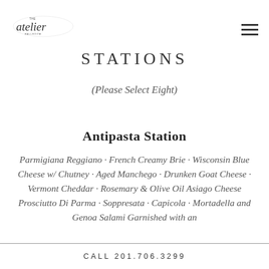The Atelier Ballroom [logo] | hamburger menu icon
STATIONS
(Please Select Eight)
Antipasta Station
Parmigiana Reggiano · French Creamy Brie · Wisconsin Blue Cheese w/ Chutney · Aged Manchego · Drunken Goat Cheese · Vermont Cheddar · Rosemary & Olive Oil Asiago Cheese Prosciutto Di Parma · Soppresata · Capicola · Mortadella and Genoa Salami Garnished with an
CALL 201.706.3299